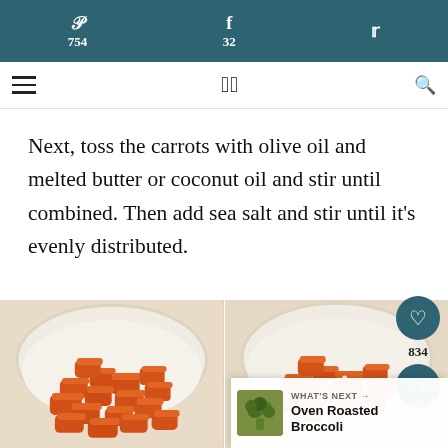754  32
Next, toss the carrots with olive oil and melted butter or coconut oil and stir until combined. Then add sea salt and stir until it's evenly distributed.
[Figure (photo): Two bowls of chopped carrots side by side; left bowl shows plain carrots, right bowl shows carrots with salt being added]
WHAT'S NEXT → Oven Roasted Broccoli